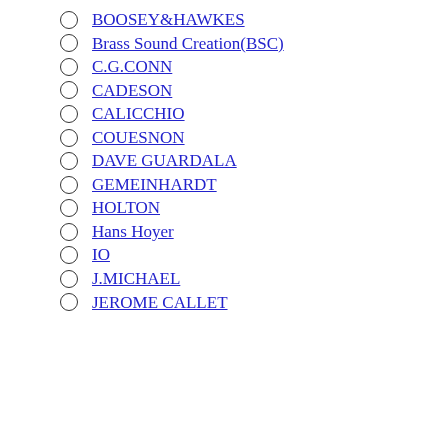BOOSEY&HAWKES
Brass Sound Creation(BSC)
C.G.CONN
CADESON
CALICCHIO
COUESNON
DAVE GUARDALA
GEMEINHARDT
HOLTON
Hans Hoyer
IO
J.MICHAEL
JEROME CALLET